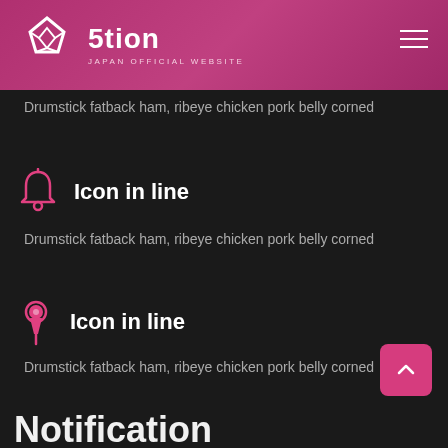5tion JAPAN OFFICIAL WEBSITE
Drumstick fatback ham, ribeye chicken pork belly corned
Icon in line
Drumstick fatback ham, ribeye chicken pork belly corned
Icon in line
Drumstick fatback ham, ribeye chicken pork belly corned
Notification